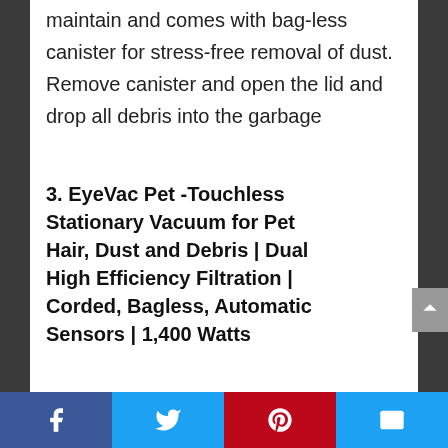maintain and comes with bag-less canister for stress-free removal of dust. Remove canister and open the lid and drop all debris into the garbage
3. EyeVac Pet -Touchless Stationary Vacuum for Pet Hair, Dust and Debris | Dual High Efficiency Filtration | Corded, Bagless, Automatic Sensors | 1,400 Watts
Social share bar: Facebook, Twitter, Pinterest, Email